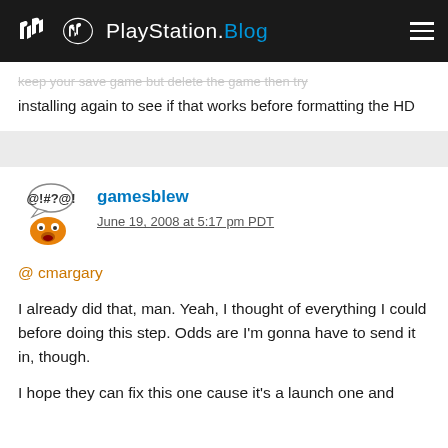PlayStation.Blog
installing again to see if that works before formatting the HD
gamesblowJune 19, 2008 at 5:17 pm PDT
@ cmargary
I already did that, man. Yeah, I thought of everything I could before doing this step. Odds are I'm gonna have to send it in, though.
I hope they can fix this one cause it's a launch one and